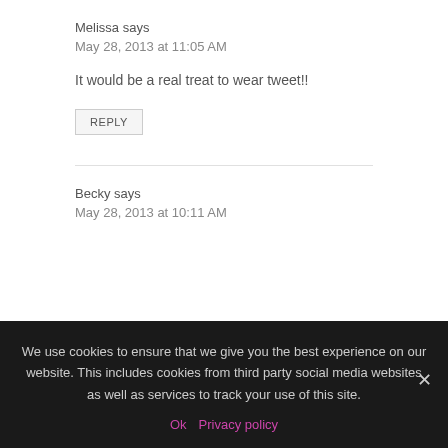Melissa says
May 28, 2013 at 11:05 AM
It would be a real treat to wear tweet!!
REPLY
Becky says
May 28, 2013 at 10:11 AM
We use cookies to ensure that we give you the best experience on our website. This includes cookies from third party social media websites as well as services to track your use of this site.
Ok   Privacy policy